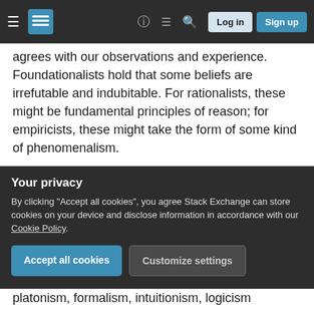Stack Exchange navigation bar with hamburger menu, logo, help, chat, search icons, Log in and Sign up buttons
agrees with our observations and experience. Foundationalists hold that some beliefs are irrefutable and indubitable. For rationalists, these might be fundamental principles of reason; for empiricists, these might take the form of some kind of phenomenalism.
Mathematics does not escape the trilemma. A formalist could say they are just playing a game of manipulating symbols, and that there is no justification for playing this game, but this extreme variety of formalism does not seem to do justice to
Your privacy
By clicking "Accept all cookies", you agree Stack Exchange can store cookies on your device and disclose information in accordance with our Cookie Policy.
platonism, formalism, intuitionism, logicism